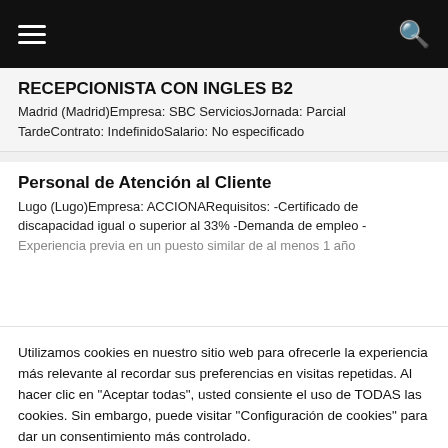≡  🔍
RECEPCIONISTA CON INGLES B2
Madrid (Madrid)Empresa: SBC ServiciosJornada: Parcial TardeContrato: IndefinidoSalario: No especificado
Personal de Atención al Cliente
Lugo (Lugo)Empresa: ACCIONARequisitos: -Certificado de discapacidad igual o superior al 33% -Demanda de empleo - Experiencia previa en un puesto similar de al menos 1 año
Utilizamos cookies en nuestro sitio web para ofrecerle la experiencia más relevante al recordar sus preferencias en visitas repetidas. Al hacer clic en "Aceptar todas", usted consiente el uso de TODAS las cookies. Sin embargo, puede visitar "Configuración de cookies" para dar un consentimiento más controlado.
Configuración de cookies   Aceptar todas
Cambiar Idioma »